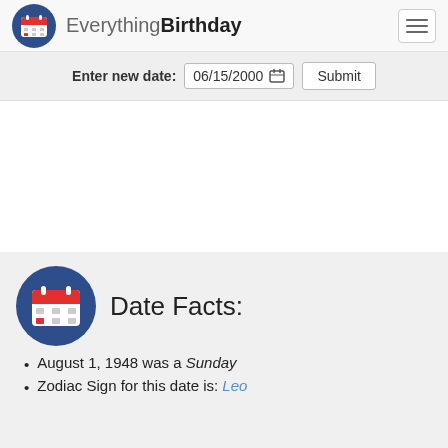EverythingBirthday
Enter new date: 06/15/2000  Submit
Date Facts:
August 1, 1948 was a Sunday
Zodiac Sign for this date is: Leo